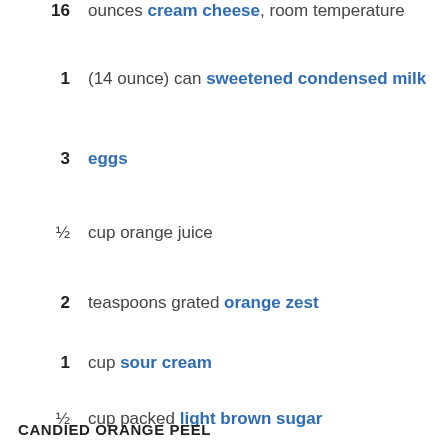16 ounces cream cheese, room temperature
1 (14 ounce) can sweetened condensed milk
3 eggs
½ cup orange juice
2 teaspoons grated orange zest
1 cup sour cream
½ cup packed light brown sugar
½ teaspoon ground ginger
CANDIED ORANGE PEEL